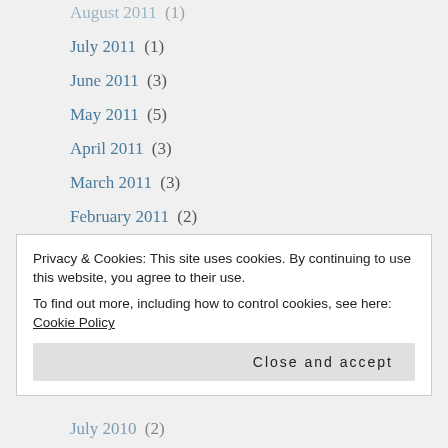August 2011 (1)
July 2011 (1)
June 2011 (3)
May 2011 (5)
April 2011 (3)
March 2011 (3)
February 2011 (2)
January 2011 (4)
December 2010 (3)
Privacy & Cookies: This site uses cookies. By continuing to use this website, you agree to their use.
To find out more, including how to control cookies, see here: Cookie Policy
July 2010 (2)